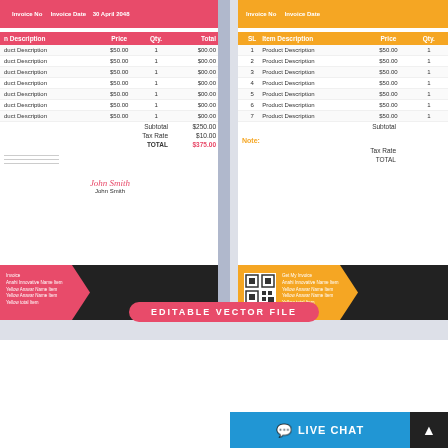[Figure (screenshot): Two invoice template previews side by side - left with pink/red theme, right with orange theme. Both show item description tables with prices and quantities. Left invoice has 7 rows with Subtotal $250.00, Tax Rate $10.00, TOTAL $375.00 in red. Right invoice shows similar layout with orange color scheme. Both have decorative footer shapes.]
EDITABLE VECTOR FILE
$5 $4 ADD TO CART
Template #: 272337
Author: iftikharalam
Downloads: 0
LIVE CHAT